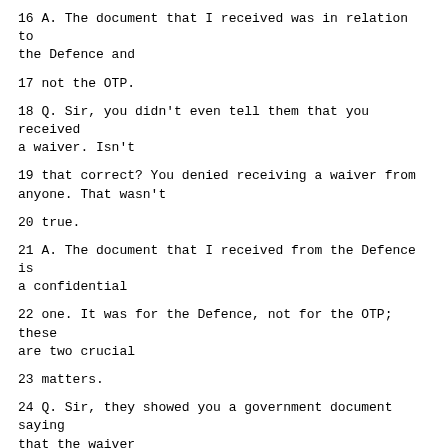16 A. The document that I received was in relation to the Defence and
17 not the OTP.
18 Q. Sir, you didn't even tell them that you received a waiver. Isn't
19 that correct? You denied receiving a waiver from anyone. That wasn't
20 true.
21 A. The document that I received from the Defence is a confidential
22 one. It was for the Defence, not for the OTP; these are two crucial
23 matters.
24 Q. Sir, they showed you a government document saying that the waiver
25 had been issued. You knew that it had been issued on behalf of all
Page 13078
1 parties, sir, and you denied. They asked you specifically and you